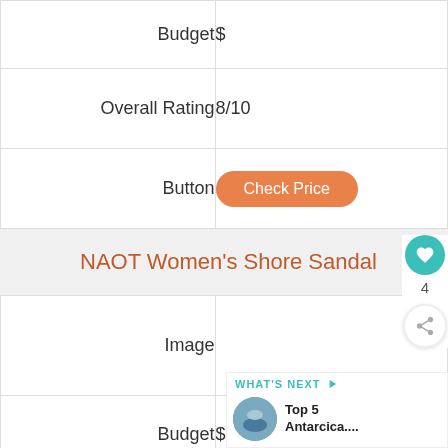| Field | Value |
| --- | --- |
| Budget | $ |
| Overall Rating | 8/10 |
| Button | Check Price |
NAOT Women's Shore Sandal
| Field | Value |
| --- | --- |
| Image |  |
| Budget | $ |
| Overall Rating | 8/10 |